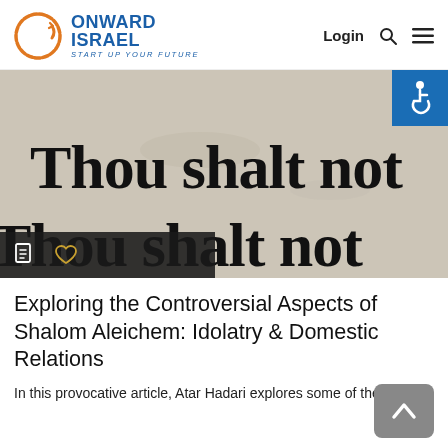ONWARD ISRAEL — START UP YOUR FUTURE | Login
[Figure (photo): Close-up photo of old paper/fabric with bold serif text reading 'Thou shalt not' and partially visible second line 'Thou shalt not'. Accessibility icon and toolbar overlay visible.]
Exploring the Controversial Aspects of Shalom Aleichem: Idolatry & Domestic Relations
In this provocative article, Atar Hadari explores some of the